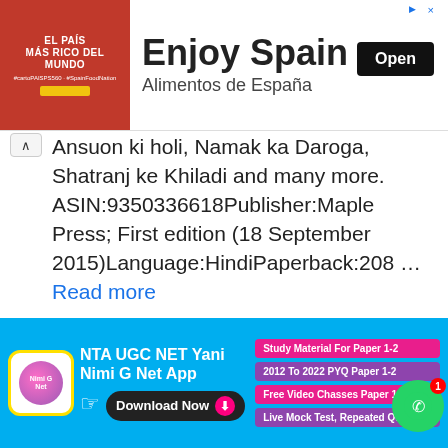[Figure (infographic): Advertisement banner for 'Enjoy Spain' / Alimentos de España with red background showing EL PAÍS MÁS RICO DEL MUNDO text and Open button]
Ansuon ki holi, Namak ka Daroga, Shatranj ke Khiladi and many more. ASIN:9350336618Publisher:Maple Press; First edition (18 September 2015)Language:HindiPaperback:208 … Read more
Share This
[Figure (infographic): Social sharing icons row: WhatsApp (green), Facebook (blue), Telegram (light blue), Share text, empty box]
[Figure (infographic): Bottom advertisement for NTA UGC NET Yani Nimi G Net App with download button and bullet points listing Study Material For Paper 1-2, 2012 To 2022 PYQ Paper 1-2, Free Video Classes Paper 1-, Live Mock Test, Repeated Ques.]